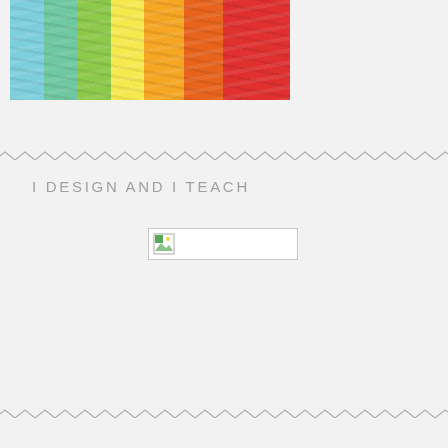[Figure (photo): Rainbow-colored fabric or ribbons arranged in a gradient from light blue/teal on the left through green, yellow, orange to red on the right, crumpled and layered]
I DESIGN AND I TEACH
[Figure (photo): Broken/missing image placeholder with small icon]